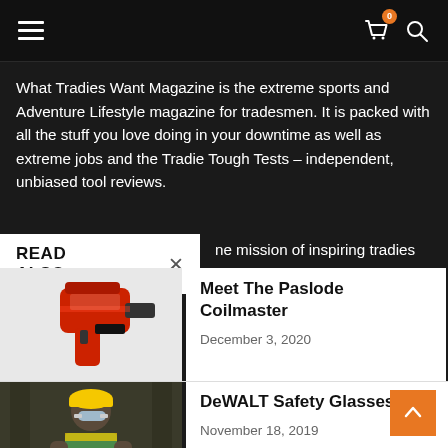Navigation bar with hamburger menu, cart icon (badge: 0), and search icon
What Tradies Want Magazine is the extreme sports and Adventure Lifestyle magazine for tradesmen. It is packed with all the stuff you love doing in your downtime as well as extreme jobs and the Tradie Tough Tests – independent, unbiased tool reviews.
READ ALSO
ne mission of inspiring tradies nd off the job.
[Figure (photo): Red and black Paslode Coilmaster nail gun]
Meet The Paslode Coilmaster
December 3, 2020
[Figure (photo): DeWALT TSTAK I yellow and black toolbox stack]
DeWALT TSTAK I Toolbox
January 15, 2019
[Figure (photo): Person wearing DeWALT Safety Glasses on a job site]
DeWALT Safety Glasses
November 18, 2019
It With...
022